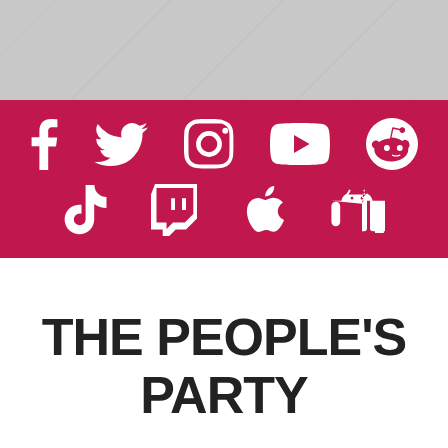[Figure (illustration): Gray banner background at top of page with subtle diagonal texture lines]
[Figure (infographic): Crimson/red banner containing white social media icons in two rows: Row 1: Facebook, Twitter, Instagram, YouTube, Reddit; Row 2: TikTok, Twitch, Apple, Android]
THE PEOPLE'S PARTY
Our vision is a major new